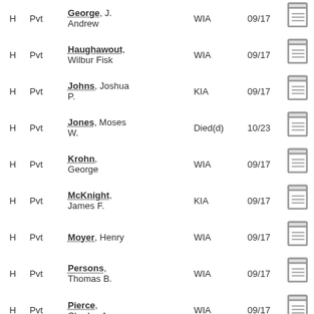| Co | Rank | Name | Status | Date |  |
| --- | --- | --- | --- | --- | --- |
| H | Pvt | George, J. Andrew | WIA | 09/17 |  |
| H | Pvt | Haughawout, Wilbur Fisk | WIA | 09/17 |  |
| H | Pvt | Johns, Joshua P. | KIA | 09/17 |  |
| H | Pvt | Jones, Moses W. | Died(d) | 10/23 |  |
| H | Pvt | Krohn, George | WIA | 09/17 |  |
| H | Pvt | McKnight, James F. | KIA | 09/17 |  |
| H | Pvt | Moyer, Henry | WIA | 09/17 |  |
| H | Pvt | Persons, Thomas B. | WIA | 09/17 |  |
| H | Pvt | Pierce, Charles A. | WIA | 09/17 |  |
| H | Pvt | Thomas, William N. | WIA | 09/17 |  |
| H | Pvt | Watts, William Harrison | WIA | 09/17 |  |
| H | Capt | Whitman, George J. | WIA | 09/17 |  |
| H | Pvt | Wilcox, William | KIA | 09/17 |  |
| I | Pvt | Belonger, Michael | WIA | 09/17 |  |